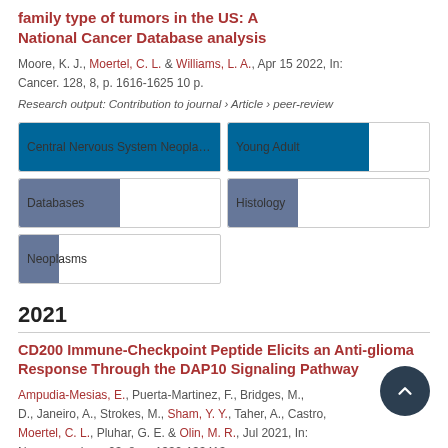... family type of tumors in the US: A National Cancer Database analysis
Moore, K. J., Moertel, C. L. & Williams, L. A., Apr 15 2022, In: Cancer. 128, 8, p. 1616-1625 10 p.
Research output: Contribution to journal › Article › peer-review
[Figure (infographic): Keyword badges with fill levels: Central Nervous System Neoplasms (100%), Young Adult (70%), Databases (50%), Histology (35%), Neoplasms (20%)]
2021
CD200 Immune-Checkpoint Peptide Elicits an Anti-glioma Response Through the DAP10 Signaling Pathway
Ampudia-Mesias, E., Puerta-Martinez, F., Bridges, M., D., Janeiro, A., Strokes, M., Sham, Y. Y., Taher, A., Castro, Moertel, C. L., Pluhar, G. E. & Olin, M. R., Jul 2021, In: Neuro-oncology. 23, 8, p. 1332-1334 13...